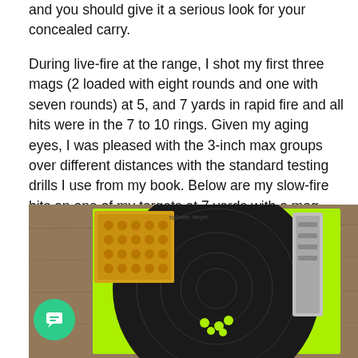and you should give it a serious look for your concealed carry.
During live-fire at the range, I shot my first three mags (2 loaded with eight rounds and one with seven rounds) at 5, and 7 yards in rapid fire and all hits were in the 7 to 10 rings. Given my aging eyes, I was pleased with the 3-inch max groups over different distances with the standard testing drills I use from my book. Below are my slow-fire hits on one of my targets at 7 yards with a mag change from my range field testing of the M&P Shield M2.0. For a short-barreled subcompact, It was an accurate and comfortable gun to shoot.
[Figure (photo): Photo of a shooting target (black splatter target on neon green background) with bullet holes visible, alongside a box of ammunition and a gun magazine, placed on a wooden surface.]